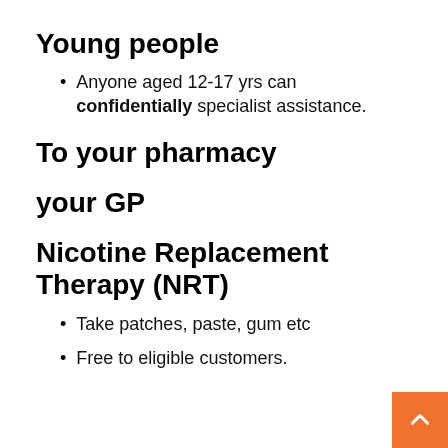Young people
Anyone aged 12-17 yrs can confidentially specialist assistance.
To your pharmacy
your GP
Nicotine Replacement Therapy (NRT)
Take patches, paste, gum etc
Free to eligible customers.